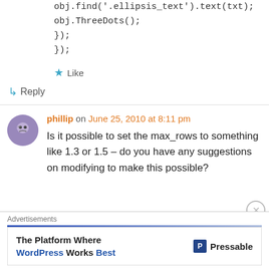obj.find('.ellipsis_text').text(txt);
obj.ThreeDots();
});
});
Like
Reply
phillip on June 25, 2010 at 8:11 pm
Is it possible to set the max_rows to something like 1.3 or 1.5 – do you have any suggestions on modifying to make this possible?
Advertisements
The Platform Where WordPress Works Best